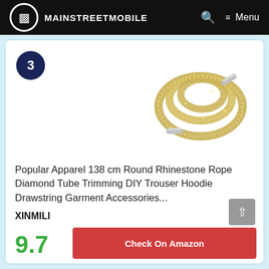MAINSTREETMOBILE
[Figure (photo): Coiled gold/beige rhinestone rope drawstring with silver metal tips, shown on white background]
Popular Apparel 138 cm Round Rhinestone Rope Diamond Tube Trimming DIY Trouser Hoodie Drawstring Garment Accessories...
XINMILI
9.7
Check On Amazon